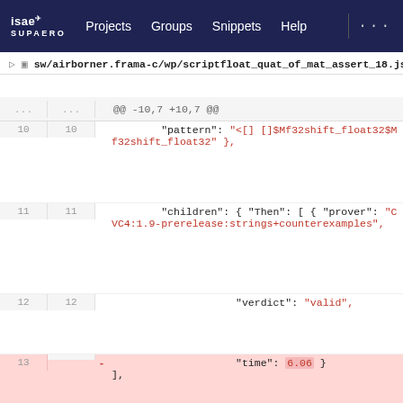isae SUPAERO   Projects   Groups   Snippets   Help   ...
sw/airborner.frama-c/wp/scriptfloat_quat_of_mat_assert_18.json
[Figure (screenshot): Git diff view showing a JSON file diff. Lines 10-13 shown. Line 10 unchanged with pattern field. Line 11 unchanged with children/Then/prover fields including CVC4:1.9-prerelease:strings+counterexamples. Line 12 unchanged with verdict: valid. Line 13 removed (red background) showing time: 6.06. Line 13 added (green background) showing time: 2.76.]